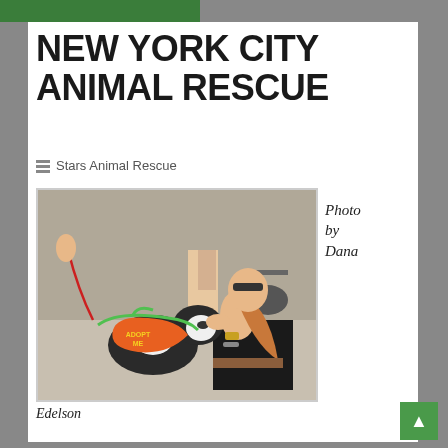NEW YORK CITY ANIMAL RESCUE
Stars Animal Rescue
[Figure (photo): A woman in black dress sitting on the ground interacting with a brindle and white dog wearing an orange 'Adopt Me' vest and green harness, held by a red leash.]
Photo by Dana
Edelson